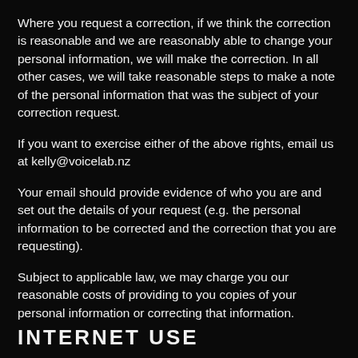Where you request a correction, if we think the correction is reasonable and we are reasonably able to change your personal information, we will make the correction. In all other cases, we will take reasonable steps to make a note of the personal information that was the subject of your correction request.
If you want to exercise either of the above rights, email us at kelly@voicelab.nz
Your email should provide evidence of who you are and set out the details of your request (e.g. the personal information to be corrected and the correction that you are requesting).
Subject to applicable law, we may charge you our reasonable costs of providing to you copies of your personal information or correcting that information.
INTERNET USE